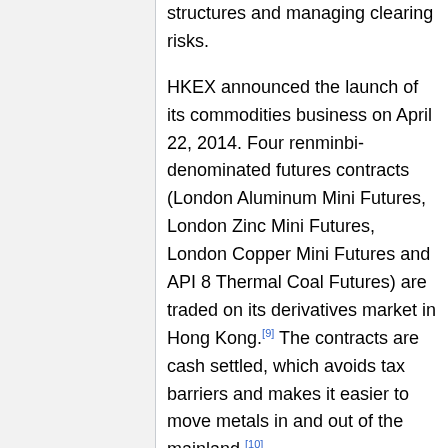structures and managing clearing risks.
HKEX announced the launch of its commodities business on April 22, 2014. Four renminbi-denominated futures contracts (London Aluminum Mini Futures, London Zinc Mini Futures, London Copper Mini Futures and API 8 Thermal Coal Futures) are traded on its derivatives market in Hong Kong.[9] The contracts are cash settled, which avoids tax barriers and makes it easier to move metals in and out of the mainland.[10]
On November 17, 2014, China launched a program called the Shanghai-Hong Kong Stock Connect, connecting HKEX with the Shanghai Stock Exchange, offering investors in Hong Kong and the Chinese mainland unprecedented access to markets across the border. They are also being tested in...